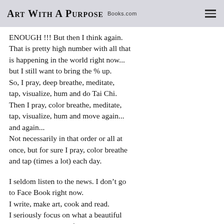Art With A Purpose Books.com
ENOUGH !!! But then I think again. That is pretty high number with all that is happening in the world right now... but I still want to bring the % up. So, I pray, deep breathe, meditate, tap, visualize, hum and do Tai Chi. Then I pray, color breathe, meditate, tap, visualize, hum and move again... and again... Not necessarily in that order or all at once, but for sure I pray, color breathe and tap (times a lot) each day.

I seldom listen to the news. I don't go to Face Book right now. I write, make art, cook and read. I seriously focus on what a beautiful world will look and feel like. That's the best I can do right now.